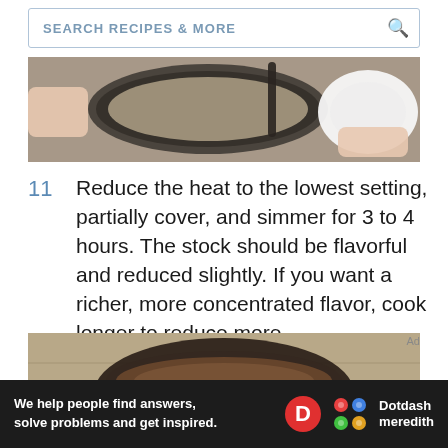SEARCH RECIPES & MORE
[Figure (photo): Overhead view of hands near a pan of food and a white plate on a wooden table]
11  Reduce the heat to the lowest setting, partially cover, and simmer for 3 to 4 hours. The stock should be flavorful and reduced slightly. If you want a richer, more concentrated flavor, cook longer to reduce more.
[Figure (photo): Overhead view of a dark round pot with liquid on a wooden surface]
Ad
We help people find answers, solve problems and get inspired.  Dotdash meredith